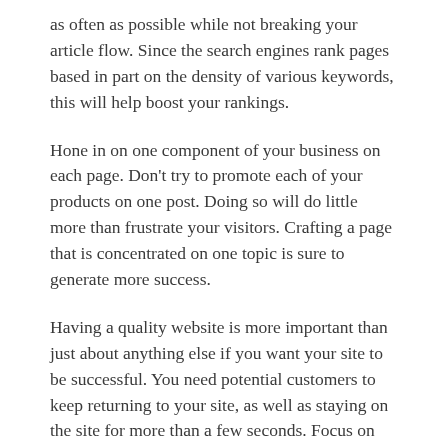as often as possible while not breaking your article flow. Since the search engines rank pages based in part on the density of various keywords, this will help boost your rankings.
Hone in on one component of your business on each page. Don't try to promote each of your products on one post. Doing so will do little more than frustrate your visitors. Crafting a page that is concentrated on one topic is sure to generate more success.
Having a quality website is more important than just about anything else if you want your site to be successful. You need potential customers to keep returning to your site, as well as staying on the site for more than a few seconds. Focus on things that will boost your search engine rankings.
The easier your website is to read, the more likely people are to return time and time again. You can increase your search engine ranking by concentrating on keeping your site uncluttered and